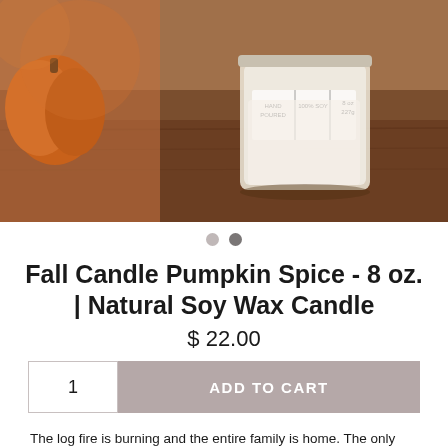[Figure (photo): Photo of a soy wax candle in a glass jar on a wooden surface with pumpkins, label reads HAND POURED | 100% SOY | 8 oz 227g]
Fall Candle Pumpkin Spice - 8 oz. | Natural Soy Wax Candle
$ 22.00
1  ADD TO CART
The log fire is burning and the entire family is home. The only thing that is missing is a home candle to smell, that ties th